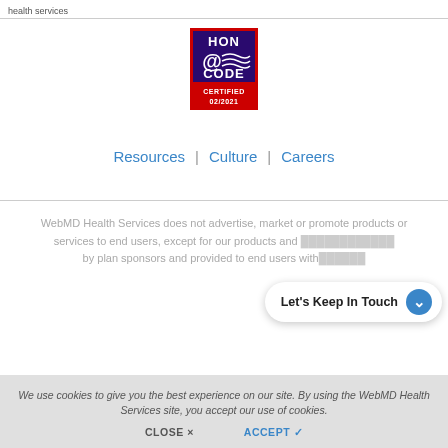health services
[Figure (logo): HON @CODE CERTIFIED 02/2021 badge — a square badge with red border, dark blue/purple background, @-symbol graphic, text HON CODE CERTIFIED 02/2021]
Resources | Culture | Careers
WebMD Health Services does not advertise, market or promote products or services to end users, except for our products and [obscured] by plan sponsors and provided to end users with[obscured]
Let's Keep In Touch
We use cookies to give you the best experience on our site. By using the WebMD Health Services site, you accept our use of cookies.
CLOSE × ACCEPT ✓